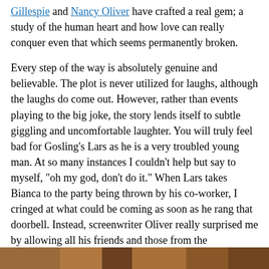Gillespie and Nancy Oliver have crafted a real gem; a study of the human heart and how love can really conquer even that which seems permanently broken.
Every step of the way is absolutely genuine and believable. The plot is never utilized for laughs, although the laughs do come out. However, rather than events playing to the big joke, the story lends itself to subtle giggling and uncomfortable laughter. You will truly feel bad for Gosling’s Lars as he is a very troubled young man. At so many instances I couldn’t help but say to myself, “oh my god, don’t do it.” When Lars takes Bianca to the party being thrown by his co-worker, I cringed at what could be coming as soon as he rang that doorbell. Instead, screenwriter Oliver really surprised me by allowing all his friends and those from the community to totally support his delusion and the fact that he is crying out for help. They all answer the call and it really is a beautiful thing to behold.
[Figure (photo): A strip of a photograph visible at the bottom of the page, showing people in a warm-toned outdoor setting.]